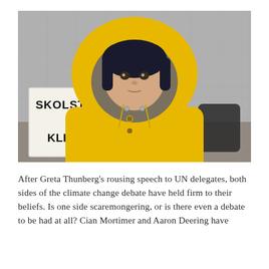[Figure (photo): A young girl wearing a bright yellow rain jacket with the hood up, standing in front of a handwritten sign reading 'SKOLSTREJK FÖR KLIMATET' (School Strike for Climate). The photo is in a slightly desaturated style with a concrete wall background.]
After Greta Thunberg's rousing speech to UN delegates, both sides of the climate change debate have held firm to their beliefs. Is one side scaremongering, or is there even a debate to be had at all? Cian Mortimer and Aaron Deering have